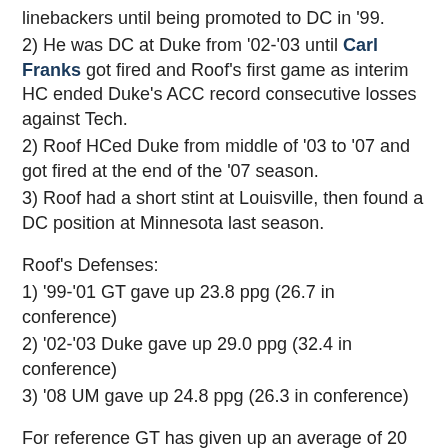linebackers until being promoted to DC in '99.
2) He was DC at Duke from '02-'03 until Carl Franks got fired and Roof's first game as interim HC ended Duke's ACC record consecutive losses against Tech.
2) Roof HCed Duke from middle of '03 to '07 and got fired at the end of the '07 season.
3) Roof had a short stint at Louisville, then found a DC position at Minnesota last season.
Roof's Defenses:
1) '99-'01 GT gave up 23.8 ppg (26.7 in conference)
2) '02-'03 Duke gave up 29.0 ppg (32.4 in conference)
3) '08 UM gave up 24.8 ppg (26.3 in conference)
For reference GT has given up an average of 20 ppg since Roof's departure. Auburn since '05 has averaged giving up an amazing 16 ppg under three different DC's (Gibbs, Muschamp, and Rhoads).